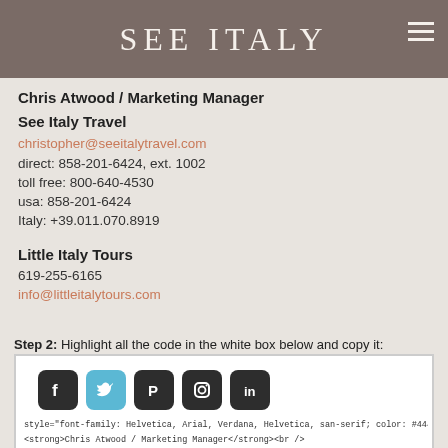excluded here but will appear at bottom of actual signature).
[Figure (logo): See Italy Travel logo - white serif text on dark taupe/brown background bar with hamburger menu icon]
Chris Atwood / Marketing Manager
See Italy Travel
christopher@seeitalytravel.com
direct: 858-201-6424, ext. 1002
toll free: 800-640-4530
usa: 858-201-6424
Italy: +39.011.070.8919
Little Italy Tours
619-255-6165
info@littleitalytours.com
Step 2: Highlight all the code in the white box below and copy it:
[Figure (screenshot): White code box showing social media icons (Facebook, Twitter, Pinterest, Instagram, LinkedIn) and code snippets]